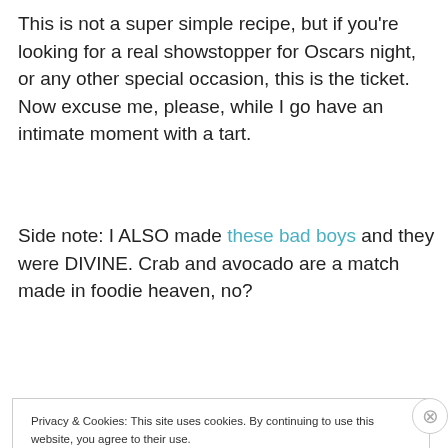This is not a super simple recipe, but if you're looking for a real showstopper for Oscars night, or any other special occasion, this is the ticket. Now excuse me, please, while I go have an intimate moment with a tart.
Side note: I ALSO made these bad boys and they were DIVINE. Crab and avocado are a match made in foodie heaven, no?
Privacy & Cookies: This site uses cookies. By continuing to use this website, you agree to their use.
To find out more, including how to control cookies, see here: Cookie Policy
Close and accept